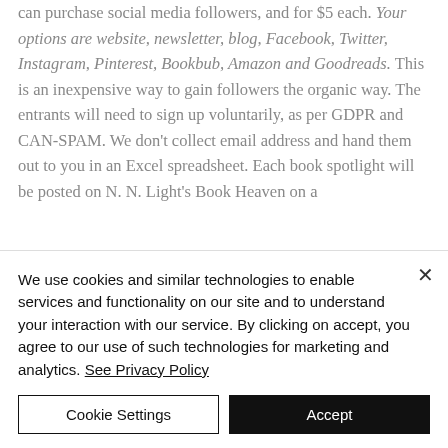can purchase social media followers, and for $5 each. Your options are website, newsletter, blog, Facebook, Twitter, Instagram, Pinterest, Bookbub, Amazon and Goodreads. This is an inexpensive way to gain followers the organic way. The entrants will need to sign up voluntarily, as per GDPR and CAN-SPAM. We don't collect email address and hand them out to you in an Excel spreadsheet. Each book spotlight will be posted on N. N. Light's Book Heaven on a
We use cookies and similar technologies to enable services and functionality on our site and to understand your interaction with our service. By clicking on accept, you agree to our use of such technologies for marketing and analytics. See Privacy Policy
Cookie Settings
Accept